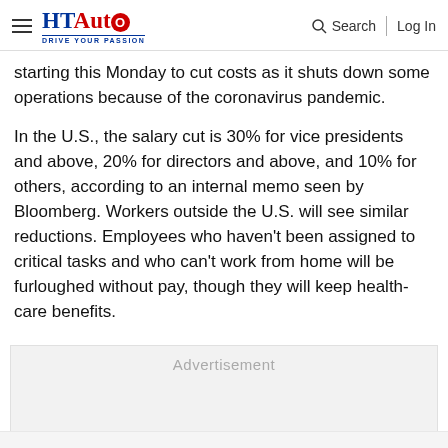HT Auto — Drive Your Passion | Search | Log In
starting this Monday to cut costs as it shuts down some operations because of the coronavirus pandemic.
In the U.S., the salary cut is 30% for vice presidents and above, 20% for directors and above, and 10% for others, according to an internal memo seen by Bloomberg. Workers outside the U.S. will see similar reductions. Employees who haven't been assigned to critical tasks and who can't work from home will be furloughed without pay, though they will keep health-care benefits.
[Figure (other): Advertisement placeholder box]